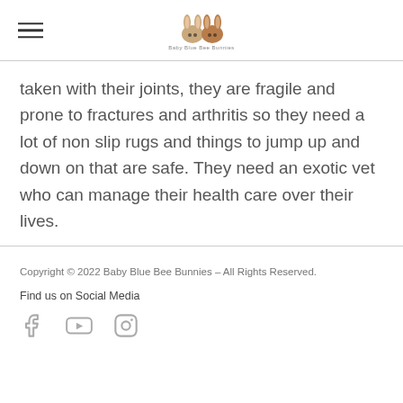Baby Blue Bee Bunnies [logo]
taken with their joints, they are fragile and prone to fractures and arthritis so they need a lot of non slip rugs and things to jump up and down on that are safe. They need an exotic vet who can manage their health care over their lives.
Copyright © 2022 Baby Blue Bee Bunnies – All Rights Reserved. Find us on Social Media
[Figure (logo): Social media icons: Facebook, YouTube, Instagram]